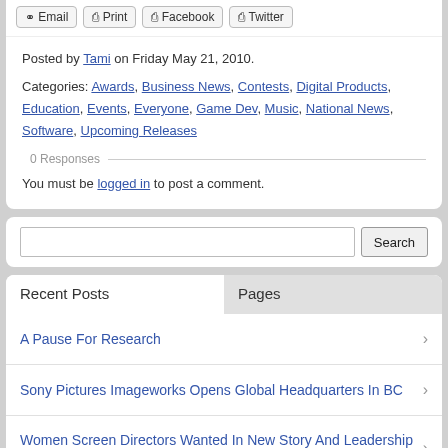Posted by Tami on Friday May 21, 2010.
Categories: Awards, Business News, Contests, Digital Products, Education, Events, Everyone, Game Dev, Music, National News, Software, Upcoming Releases
0 Responses
You must be logged in to post a comment.
Search
Recent Posts
Pages
A Pause For Research
Sony Pictures Imageworks Opens Global Headquarters In BC
Women Screen Directors Wanted In New Story And Leadership Program